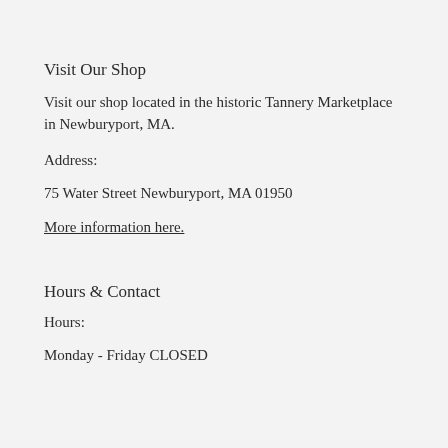Visit Our Shop
Visit our shop located in the historic Tannery Marketplace in Newburyport, MA.
Address:
75 Water Street Newburyport, MA 01950
More information here.
Hours & Contact
Hours:
Monday - Friday CLOSED